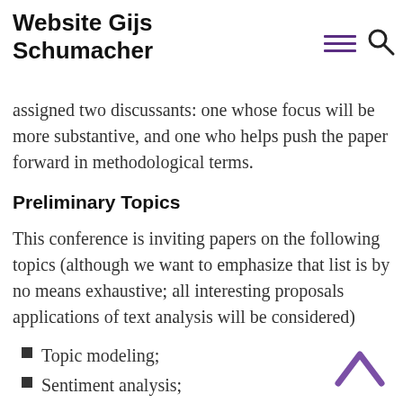Website Gijs Schumacher
Presentations should have both a substantive (what can we learn from text and applied focus (how exactly was the analysis conducted). Panels will be assigned two discussants: one whose focus will be more substantive, and one who helps push the paper forward in methodological terms.
Preliminary Topics
This conference is inviting papers on the following topics (although we want to emphasize that list is by no means exhaustive; all interesting proposals applications of text analysis will be considered)
Topic modeling;
Sentiment analysis;